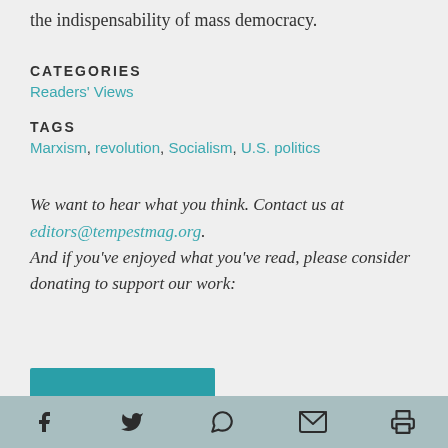the indispensability of mass democracy.
CATEGORIES
Readers' Views
TAGS
Marxism, revolution, Socialism, U.S. politics
We want to hear what you think. Contact us at editors@tempestmag.org. And if you've enjoyed what you've read, please consider donating to support our work:
Social share icons: Facebook, Twitter, WhatsApp, Email, Print